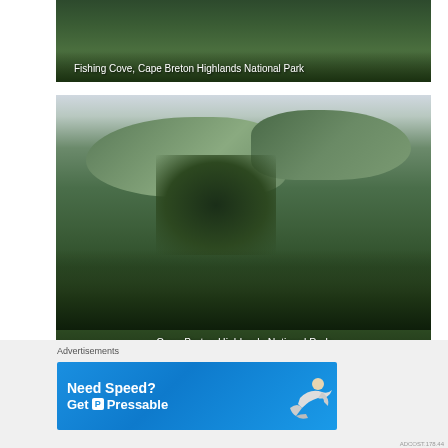[Figure (photo): Aerial/scenic view of Fishing Cove, Cape Breton Highlands National Park — dense green forested hillside]
Fishing Cove, Cape Breton Highlands National Park
[Figure (photo): Panoramic view of Cape Breton Highlands National Park showing green forested mountain valleys]
Cape Breton Highlands National Park
Advertisements
[Figure (screenshot): Advertisement banner: Need Speed? Get Pressable — blue background with person flying]